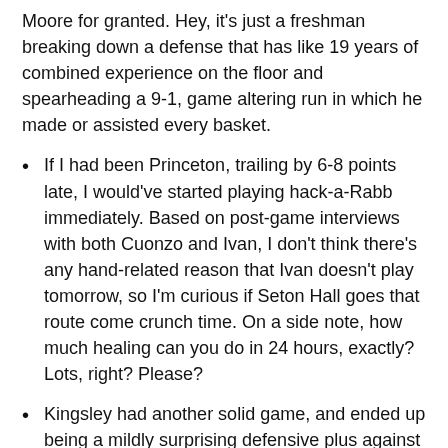Moore for granted. Hey, it's just a freshman breaking down a defense that has like 19 years of combined experience on the floor and spearheading a 9-1, game altering run in which he made or assisted every basket.
If I had been Princeton, trailing by 6-8 points late, I would've started playing hack-a-Rabb immediately. Based on post-game interviews with both Cuonzo and Ivan, I don't think there's any hand-related reason that Ivan doesn't play tomorrow, so I'm curious if Seton Hall goes that route come crunch time. On a side note, how much healing can you do in 24 hours, exactly? Lots, right? Please?
Kingsley had another solid game, and ended up being a mildly surprising defensive plus against a team that we worried might have been able to